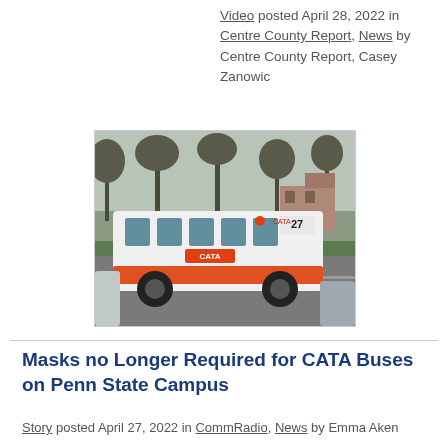Video posted April 28, 2022 in Centre County Report, News by Centre County Report, Casey Zanowic
[Figure (photo): A CATA bus numbered 27, white with orange stripe, driving on a road on a cloudy day with bare trees in the background]
Masks no Longer Required for CATA Buses on Penn State Campus
Story posted April 27, 2022 in CommRadio, News by Emma Aken